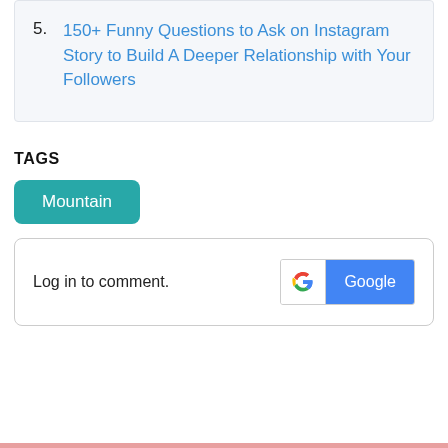5. 150+ Funny Questions to Ask on Instagram Story to Build A Deeper Relationship with Your Followers
TAGS
Mountain
Log in to comment.